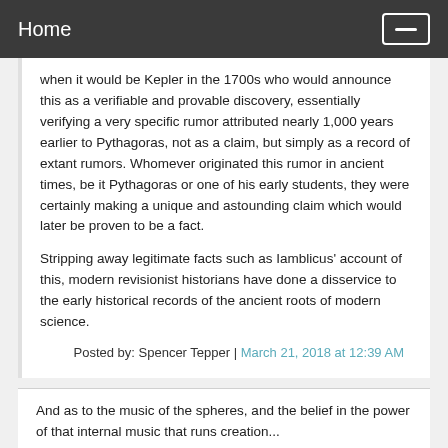Home
when it would be Kepler in the 1700s who would announce this as a verifiable and provable discovery, essentially verifying a very specific rumor attributed nearly 1,000 years earlier to Pythagoras, not as a claim, but simply as a record of extant rumors. Whomever originated this rumor in ancient times, be it Pythagoras or one of his early students, they were certainly making a unique and astounding claim which would later be proven to be a fact.
Stripping away legitimate facts such as Iamblicus' account of this, modern revisionist historians have done a disservice to the early historical records of the ancient roots of modern science.
Posted by: Spencer Tepper | March 21, 2018 at 12:39 AM
And as to the music of the spheres, and the belief in the power of that internal music that runs creation...